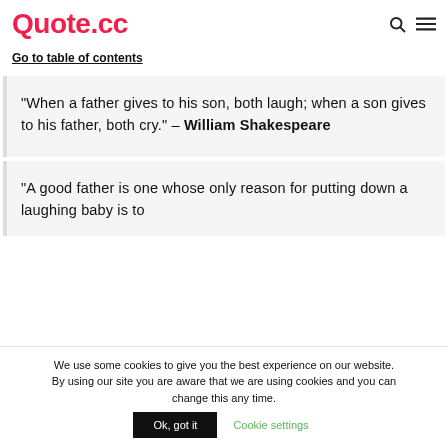Quote.cc
Go to table of contents
“When a father gives to his son, both laugh; when a son gives to his father, both cry.” – William Shakespeare
“A good father is one whose only reason for putting down a laughing baby is to
We use some cookies to give you the best experience on our website. By using our site you are aware that we are using cookies and you can change this any time.